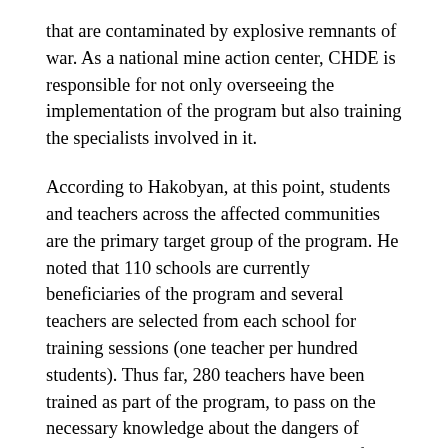that are contaminated by explosive remnants of war. As a national mine action center, CHDE is responsible for not only overseeing the implementation of the program but also training the specialists involved in it.
According to Hakobyan, at this point, students and teachers across the affected communities are the primary target group of the program. He noted that 110 schools are currently beneficiaries of the program and several teachers are selected from each school for training sessions (one teacher per hundred students). Thus far, 280 teachers have been trained as part of the program, to pass on the necessary knowledge about the dangers of landmines and other explosive remnants of war to students. Hakobyan explained that, according to previous practices, Center staff would visit schools to talk to students directly but